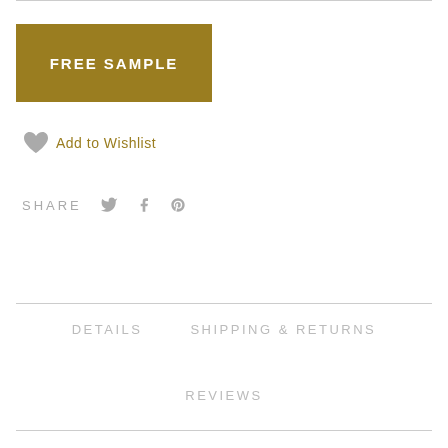FREE SAMPLE
Add to Wishlist
SHARE
DETAILS   SHIPPING & RETURNS
REVIEWS